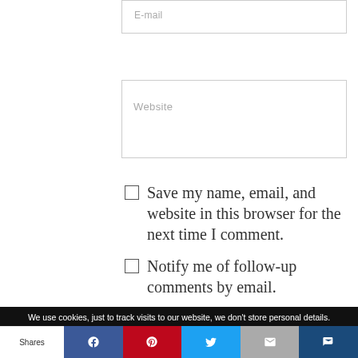E-mail
Website
Save my name, email, and website in this browser for the next time I comment.
Notify me of follow-up comments by email.
Notify me of new posts by email.
POST COMMENT
We use cookies, just to track visits to our website, we don't store personal details.
Shares